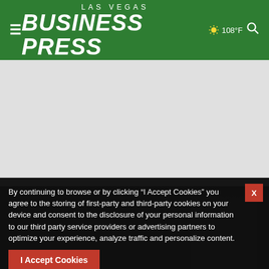LAS VEGAS BUSINESS PRESS | 108°F
[Figure (other): Gray advertisement placeholder area]
By continuing to browse or by clicking “I Accept Cookies” you agree to the storing of first-party and third-party cookies on your device and consent to the disclosure of your personal information to our third party service providers or advertising partners to optimize your experience, analyze traffic and personalize content.
I Accept Cookies